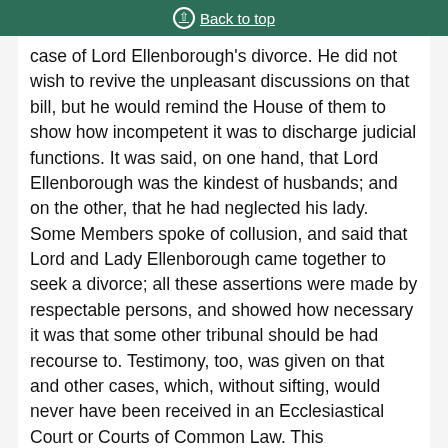Back to top
case of Lord Ellenborough's divorce. He did not wish to revive the unpleasant discussions on that bill, but he would remind the House of them to show how incompetent it was to discharge judicial functions. It was said, on one hand, that Lord Ellenborough was the kindest of husbands; and on the other, that he had neglected his lady. Some Members spoke of collusion, and said that Lord and Lady Ellenborough came together to seek a divorce; all these assertions were made by respectable persons, and showed how necessary it was that some other tribunal should be had recourse to. Testimony, too, was given on that and other cases, which, without sifting, would never have been received in an Ecclesiastical Court or Courts of Common Law. This